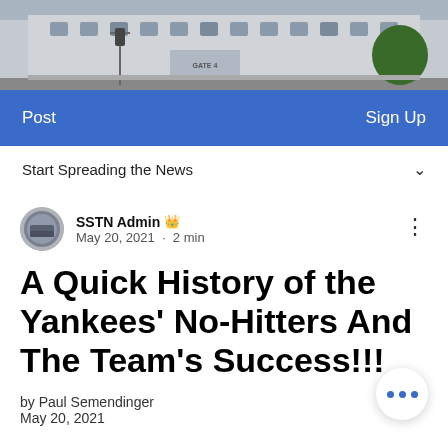[Figure (photo): Photo of a large brick building exterior with a Gate 4 sign, street scene, and trees]
Post    Sign Up
Start Spreading the News ∨
SSTN Admin 👑
May 20, 2021 · 2 min
A Quick History of the Yankees' No-Hitters And The Team's Success!!!
by Paul Semendinger
May 20, 2021